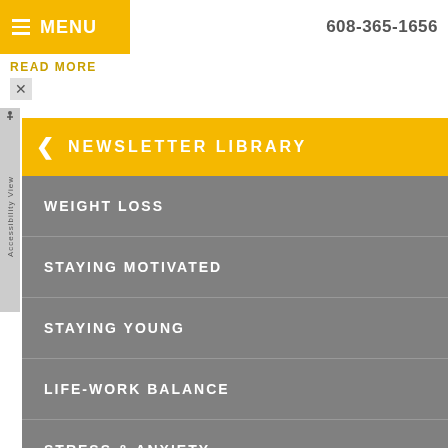MENU   608-365-1656
READ MORE
NEWSLETTER LIBRARY
WEIGHT LOSS
STAYING MOTIVATED
STAYING YOUNG
LIFE-WORK BALANCE
STRESS & ANXIETY